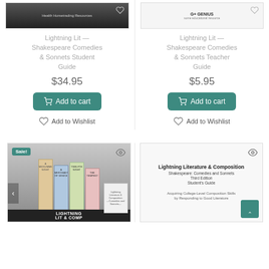[Figure (photo): Book cover image for Lightning Lit Shakespeare Comedies & Sonnets Student Guide, top cropped]
[Figure (photo): Book cover image for Lightning Lit Shakespeare Comedies & Sonnets Teacher Guide, top cropped]
Lightning Lit — Shakespeare Comedies & Sonnets Student Guide
$34.95
Add to cart
Add to Wishlist
Lightning Lit — Shakespeare Comedies & Sonnets Teacher Guide
$5.95
Add to cart
Add to Wishlist
[Figure (photo): Sale! Book stack image for Lightning Lit & Comp set]
[Figure (photo): Lightning Literature & Composition Shakespeare: Comedies and Sonnets Third Edition Student's Guide book cover]